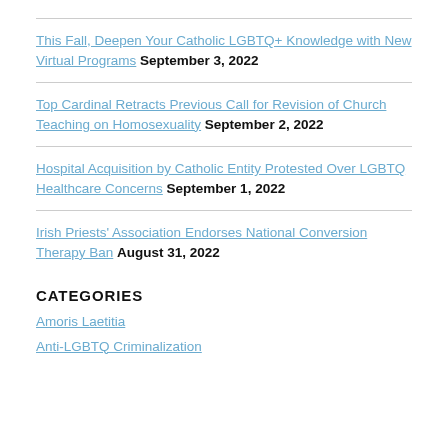This Fall, Deepen Your Catholic LGBTQ+ Knowledge with New Virtual Programs September 3, 2022
Top Cardinal Retracts Previous Call for Revision of Church Teaching on Homosexuality September 2, 2022
Hospital Acquisition by Catholic Entity Protested Over LGBTQ Healthcare Concerns September 1, 2022
Irish Priests' Association Endorses National Conversion Therapy Ban August 31, 2022
CATEGORIES
Amoris Laetitia
Anti-LGBTQ Criminalization